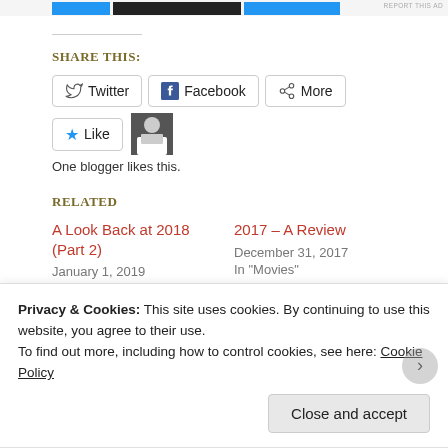[Figure (other): Top ad bar with blue and dark colored blocks]
Share this:
Twitter   Facebook   More
Like   One blogger likes this.
Related
A Look Back at 2018 (Part 2)
January 1, 2019
In "Movies"
2017 – A Review
December 31, 2017
In "Movies"
Privacy & Cookies: This site uses cookies. By continuing to use this website, you agree to their use.
To find out more, including how to control cookies, see here: Cookie Policy
Close and accept